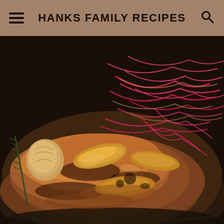HANKS FAMILY RECIPES
[Figure (photo): Close-up food photo of glazed braised meat (likely pork or chicken) on a dark plate, topped with caramelized onions, red cabbage or radicchio shreds, and garnished with roasted garlic and rosemary. The dish has a rich, dark brown glossy sauce.]